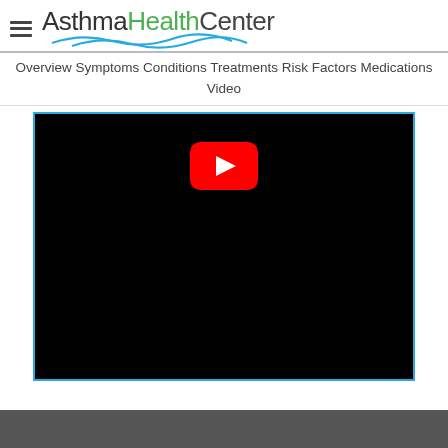AsthmaHealthCenter
Overview  Symptoms  Conditions  Treatments  Risk Factors  Medications  Video
[Figure (screenshot): YouTube video embed with black background and red YouTube play button in center, bordered with blue outline]